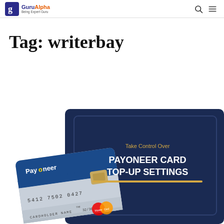GuruAlpha Being Expert Guru
Tag: writerbay
[Figure (illustration): Payoneer card image with dark navy background. Shows a Payoneer credit card (number 5412 7502 0427, CARDHOLDER NAME) with MasterCard logo, overlaid on a dark blue panel with text 'Take Control Over PAYONEER CARD TOP-UP SETTINGS' and a gold underline.]